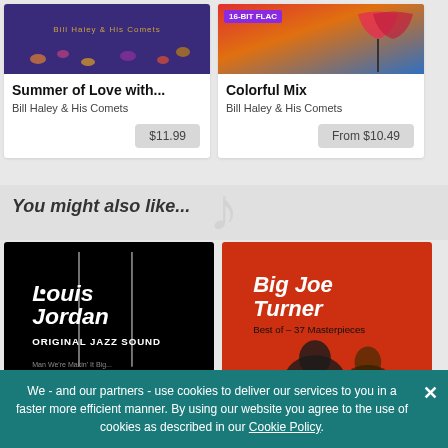[Figure (illustration): Album cover for 'Summer of Love with...' by Bill Haley & His Comets - purple background with golden text]
Summer of Love with...
Bill Haley & His Comets
$11.99
[Figure (illustration): Album cover for 'Colorful Mix' - colorful geometric/abstract design with 16-BIT FLAC badge]
Colorful Mix
Bill Haley & His Comets
From $10.49
You might also like...
[Figure (illustration): Album cover for Louis Jordan - Original Jazz Sound, black background with white text]
[Figure (illustration): Album cover for Big Joe Turner - Best of - 37 Masterpieces, red/orange background]
We - and our partners - use cookies to deliver our services to you in a faster more efficient manner. By using our website you agree to the use of cookies as described in our Cookie Policy.